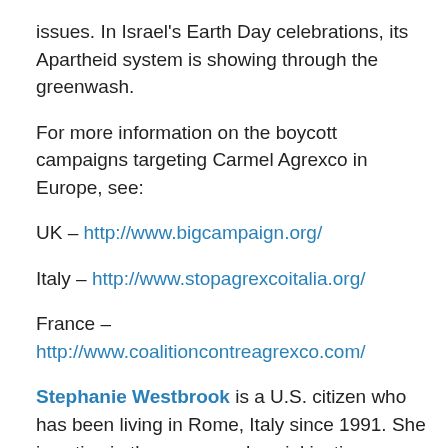issues. In Israel's Earth Day celebrations, its Apartheid system is showing through the greenwash.
For more information on the boycott campaigns targeting Carmel Agrexco in Europe, see:
UK – http://www.bigcampaign.org/
Italy – http://www.stopagrexcoitalia.org/
France – http://www.coalitioncontreagrexco.com/
Stephanie Westbrook is a U.S. citizen who has been living in Rome, Italy since 1991. She is active in the peace and social justice movements in Italy and spent the month of March in Washington DC participating in anti-war activities. She can be reached at steph@webfabbrica.com
***